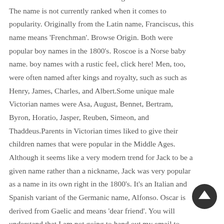comes from a Hebrew name meaning 'who is like God?'. The name is not currently ranked when it comes to popularity. Originally from the Latin name, Franciscus, this name means 'Frenchman'. Browse Origin. Both were popular boy names in the 1800's. Roscoe is a Norse baby name. boy names with a rustic feel, click here! Men, too, were often named after kings and royalty, such as such as Henry, James, Charles, and Albert.Some unique male Victorian names were Asa, August, Bennet, Bertram, Byron, Horatio, Jasper, Reuben, Simeon, and Thaddeus.Parents in Victorian times liked to give their children names that were popular in the Middle Ages. Although it seems like a very modern trend for Jack to be a given name rather than a nickname, Jack was very popular as a name in its own right in the 1800's. It's an Italian and Spanish variant of the Germanic name, Alfonso. Oscar is derived from Gaelic and means 'dear friend'. You will understand that I am not going to hand out my email to someone